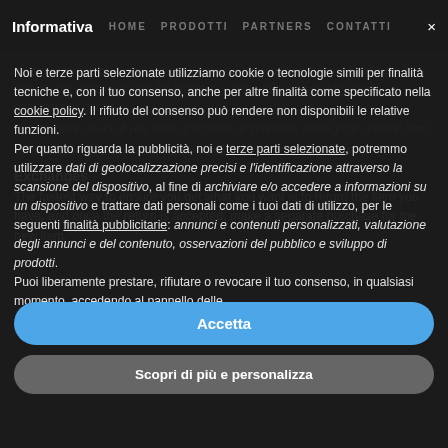Informativa  HOME  PRODOTTI  PARTNERS  CONTATTI  ×
Noi e terze parti selezionate utilizziamo cookie o tecnologie simili per finalità tecniche e, con il tuo consenso, anche per altre finalità come specificato nella cookie policy. Il rifiuto del consenso può rendere non disponibili le relative funzioni. Per quanto riguarda la pubblicità, noi e terze parti selezionate, potremmo utilizzare dati di geolocalizzazione precisi e l'identificazione attraverso la scansione del dispositivo, al fine di archiviare e/o accedere a informazioni su un dispositivo e trattare dati personali come i tuoi dati di utilizzo, per le seguenti finalità pubblicitarie: annunci e contenuti personalizzati, valutazione degli annunci e del contenuto, osservazioni del pubblico e sviluppo di prodotti. Puoi liberamente prestare, rifiutare o revocare il tuo consenso, in qualsiasi momento, accedendo al pannello delle
Exchanges
The fastest way to ensure you get what you want is to return the item you have, and once the return is accepted, make a separate purchase for the new item.
Accetta
Scopri di più e personalizza